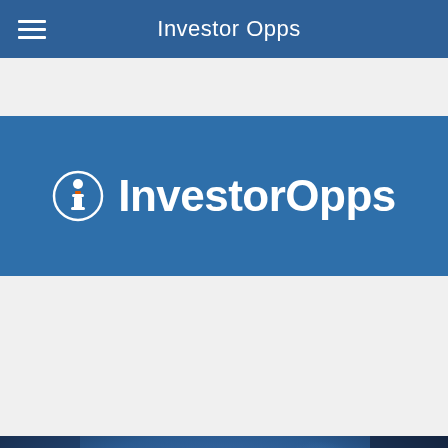Investor Opps
[Figure (logo): InvestorOpps logo with circle-i icon and bold white text on blue banner background]
[Figure (photo): Photo of a middle-aged man with gray hair wearing a dark suit and blue tie, appearing to be in a television studio with blurred blue background lighting]